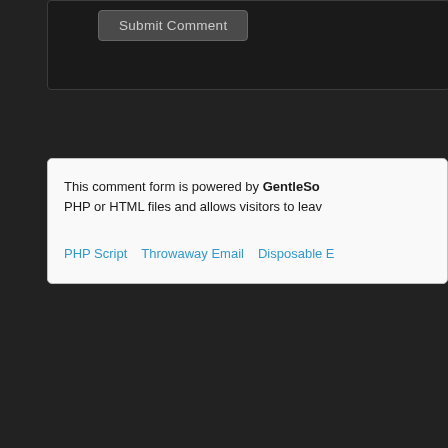[Figure (screenshot): Partial view of a web page screenshot. Top section shows a dark-themed comment form area with a 'Submit Comment' button visible on a dark background panel. Below that is a white info box with text about a comment form powered by GentleSo... mentioning PHP or HTML files and visitors leaving comments, with blue links: PHP Script, Throwaway Email, Disposable E... Bottom section shows a bright blue panel with navigation text 'HOME | PH...' and a QR code image centered on the blue background.]